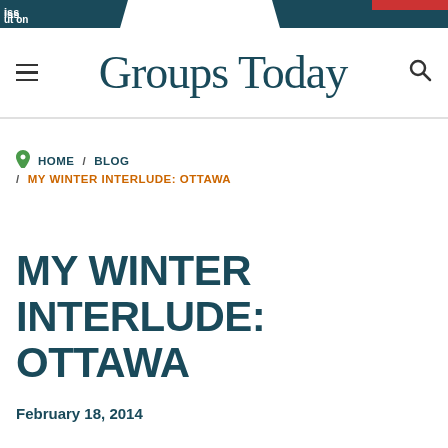Groups Today
HOME / BLOG / MY WINTER INTERLUDE: OTTAWA
MY WINTER INTERLUDE: OTTAWA
February 18, 2014